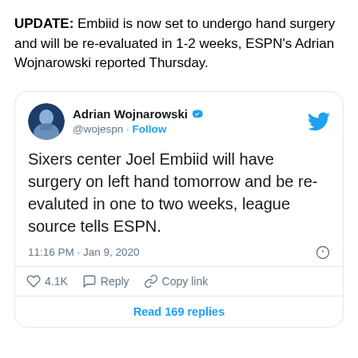UPDATE: Embiid is now set to undergo hand surgery and will be re-evaluated in 1-2 weeks, ESPN's Adrian Wojnarowski reported Thursday.
[Figure (screenshot): Embedded tweet from @wojespn (Adrian Wojnarowski) with verified badge, avatar, Twitter bird logo, tweet text: 'Sixers center Joel Embiid will have surgery on left hand tomorrow and be re-evaluted in one to two weeks, league source tells ESPN.', timestamp '11:16 PM · Jan 9, 2020', engagement: 4.1K likes, Reply, Copy link actions, and 'Read 169 replies' button.]